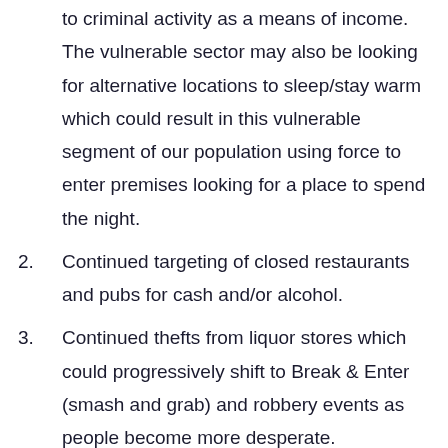to criminal activity as a means of income. The vulnerable sector may also be looking for alternative locations to sleep/stay warm which could result in this vulnerable segment of our population using force to enter premises looking for a place to spend the night.
2. Continued targeting of closed restaurants and pubs for cash and/or alcohol.
3. Continued thefts from liquor stores which could progressively shift to Break & Enter (smash and grab) and robbery events as people become more desperate.